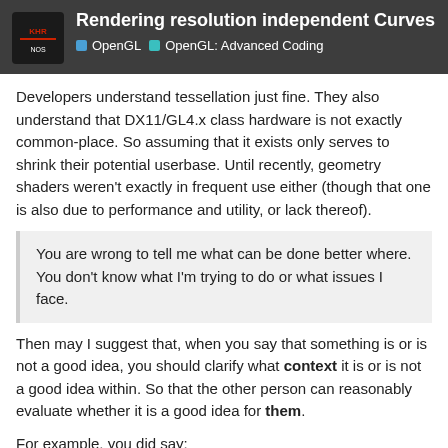Rendering resolution independent Curves | OpenGL | OpenGL: Advanced Coding
Developers understand tessellation just fine. They also understand that DX11/GL4.x class hardware is not exactly common-place. So assuming that it exists only serves to shrink their potential userbase. Until recently, geometry shaders weren't exactly in frequent use either (though that one is also due to performance and utility, or lack thereof).
You are wrong to tell me what can be done better where. You don't know what I'm trying to do or what issues I face.
Then may I suggest that, when you say that something is or is not a good idea, you should clarify what context it is or is not a good idea within. So that the other person can reasonably evaluate whether it is a good idea for them.
For example, you did say:
It doesn't cost much… today, for examp